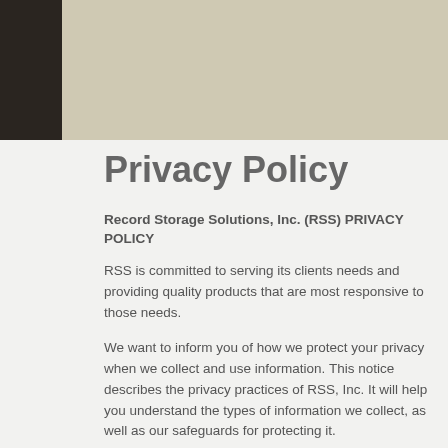[Figure (other): Header banner with dark left block and tan/beige background]
Privacy Policy
Record Storage Solutions, Inc. (RSS) PRIVACY POLICY
RSS is committed to serving its clients needs and providing quality products that are most responsive to those needs.
We want to inform you of how we protect your privacy when we collect and use information. This notice describes the privacy practices of RSS, Inc. It will help you understand the types of information we collect, as well as our safeguards for protecting it.
Privacy notices that you receive from other sites may contain 'opt-out' provisions. RSS does not share information with any third parties other than as permitted by law.
Information We Collect
To help us to improve customer service and product development, we may collect information from you, as well as from the following sources: